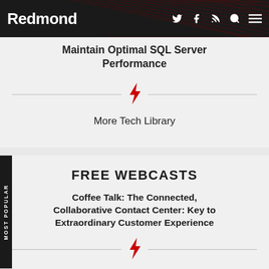Redmond
Maintain Optimal SQL Server Performance
More Tech Library
FREE WEBCASTS
MOST POPULAR
Coffee Talk: The Connected, Collaborative Contact Center: Key to Extraordinary Customer Experience